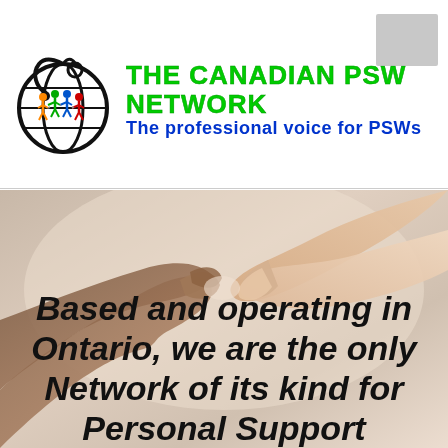[Figure (logo): The Canadian PSW Network logo: a globe with a stethoscope and colorful people figures holding hands]
THE CANADIAN PSW NETWORK
The professional voice for PSWs
[Figure (photo): Photo of multiple hands reaching toward each other forming a heart or connection gesture, with a warm beige/skin-tone background]
Based and operating in Ontario, we are the only Network of its kind for Personal Support